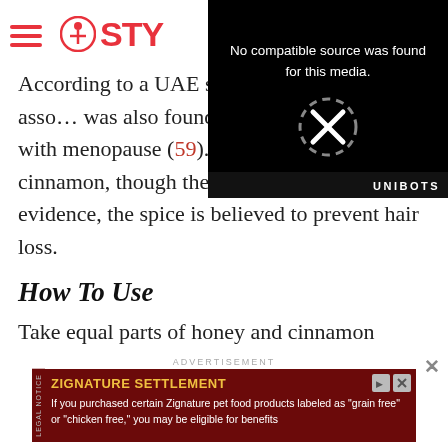STY (Stylecraze logo/navigation)
[Figure (screenshot): Video player overlay showing 'No compatible source was found for this media.' error with X close button and UNIBOTS branding on black background]
According to a UAE s… dandruff and the asso… was also found to com… associated with menopause (59). Talking about cinnamon, though there is no concrete evidence, the spice is believed to prevent hair loss.
How To Use
Take equal parts of honey and cinnamon powder and mix with warm olive oil. Before shampooing,
[Figure (screenshot): Advertisement banner: ZIGNATURE SETTLEMENT - If you purchased certain Zignature pet food products labeled as "grain free" or "chicken free," you may be eligible for benefits. Dark red background with yellow title text.]